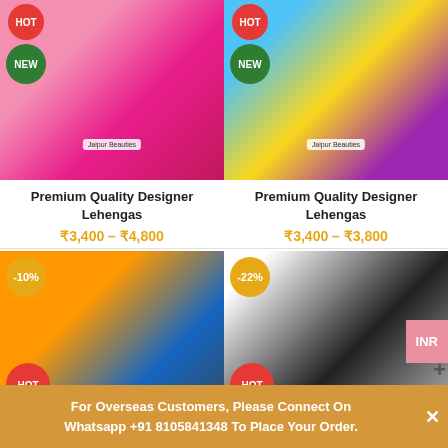[Figure (photo): Product photo of Premium Quality Designer Lehengas in pink/red colors with HOT and NEW badges]
[Figure (photo): Product photo of Premium Quality Designer Lehengas in yellow/purple/green colors with HOT and NEW badges]
Premium Quality Designer Lehengas
₹3,400 – ₹4,800
Premium Quality Designer Lehengas
₹3,400 – ₹3,800
[Figure (photo): Product photo of designer lehnga in orange/blue colors with -10% discount badge, HOT and NEW badges]
[Figure (photo): Product photo of black and white lehnga with -22% discount badge, HOT and NEW badges]
For Overseas Customers, Please Connect On Whatsapp +91 8105841348 To Place Your Order.